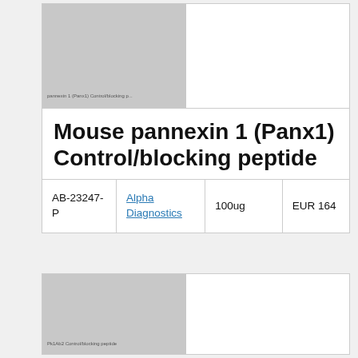[Figure (photo): Greyed out product image placeholder for Mouse pannexin 1 (Panx1) Control/blocking peptide]
Mouse pannexin 1 (Panx1) Control/blocking peptide
|  |  |  |  |
| --- | --- | --- | --- |
| AB-23247-P | Alpha Diagnostics | 100ug | EUR 164 |
[Figure (photo): Greyed out product image placeholder for second product (Pk1Ab2 Control/blocking peptide)]